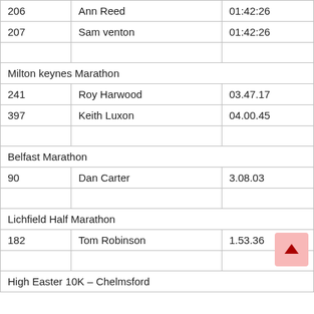|  |  |  |
| --- | --- | --- |
| 206 | Ann Reed | 01:42:26 |
| 207 | Sam venton | 01:42:26 |
|  |  |  |
| Milton keynes Marathon |  |  |
| 241 | Roy Harwood | 03.47.17 |
| 397 | Keith Luxon | 04.00.45 |
|  |  |  |
| Belfast Marathon |  |  |
| 90 | Dan Carter | 3.08.03 |
|  |  |  |
| Lichfield Half Marathon |  |  |
| 182 | Tom Robinson | 1.53.36 |
|  |  |  |
| High Easter 10K – Chelmsford |  |  |